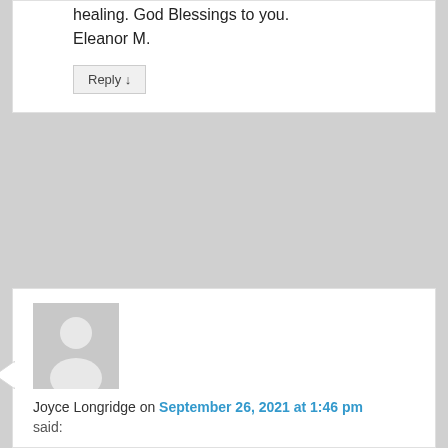healing. God Blessings to you.
Eleanor M.
Reply ↓
Joyce Longridge on September 26, 2021 at 1:46 pm said:
I prayed David's prayer for today.
I keep learning more each day on this blog about God's Word.
I am thankful for all your prayers as I journey through this troubled life.
May God bless everyone involved with this blog as it increases our
faith & trust in Jesus Christ, our only hope of